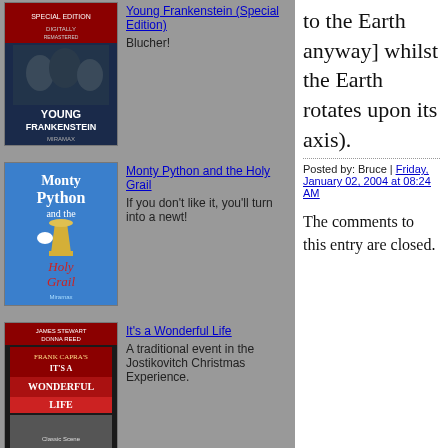[Figure (illustration): Young Frankenstein Special Edition movie poster thumbnail - dark blue background with cast]
Young Frankenstein (Special Edition)
Blucher!
[Figure (illustration): Monty Python and the Holy Grail movie poster thumbnail - blue background]
Monty Python and the Holy Grail
If you don't like it, you'll turn into a newt!
[Figure (illustration): It's a Wonderful Life movie poster thumbnail - red and black]
It's a Wonderful Life
A traditional event in the Jostikovitch Christmas Experience.
to the Earth anyway] whilst the Earth rotates upon its axis).
Posted by: Bruce | Friday, January 02, 2004 at 08:24 AM
The comments to this entry are closed.